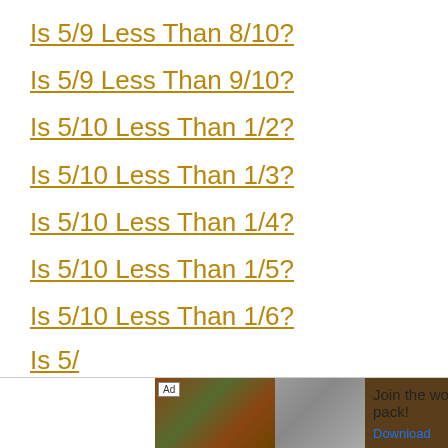Is 5/9 Less Than 8/10?
Is 5/9 Less Than 9/10?
Is 5/10 Less Than 1/2?
Is 5/10 Less Than 1/3?
Is 5/10 Less Than 1/4?
Is 5/10 Less Than 1/5?
Is 5/10 Less Than 1/6?
Is 5/
[Figure (illustration): Wolf pack advertisement with image of wolves and a wolf face, text 'Join the wolf pack!' and 'Download' button]